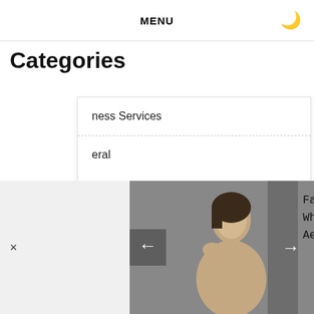MENU
Categories
ness Services
eral
right © 2022
PREVIOUS POST
NEXT POST
[Figure (photo): Woman touching chin in profile view, aesthetic treatment related photo]
Facial Rejuvenation -What Are Some Major Aesthetic Treatments?